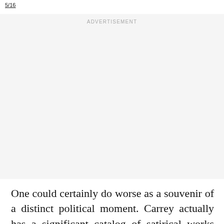5/16
[Figure (other): Advertisement placeholder box with light gray background and 'ADVERTISEMENT' label at top center]
One could certainly do worse as a souvenir of a distinct political moment. Carrey actually has a significant catalog of satirical works featuring the president, if the